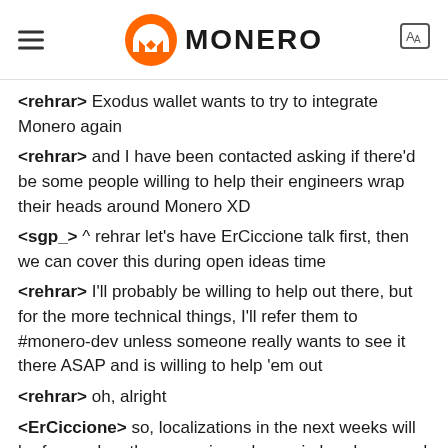MONERO
<rehrar> Exodus wallet wants to try to integrate Monero again
<rehrar> and I have been contacted asking if there'd be some people willing to help their engineers wrap their heads around Monero XD
<sgp_> ^ rehrar let's have ErCiccione talk first, then we can cover this during open ideas time
<rehrar> I'll probably be willing to help out there, but for the more technical things, I'll refer them to #monero-dev unless someone really wants to see it there ASAP and is willing to help 'em out
<rehrar> oh, alright
<ErCiccione> so, localizations in the next weeks will be focused on the upcoming release. i already opened a Pull Request on monero-GUI...